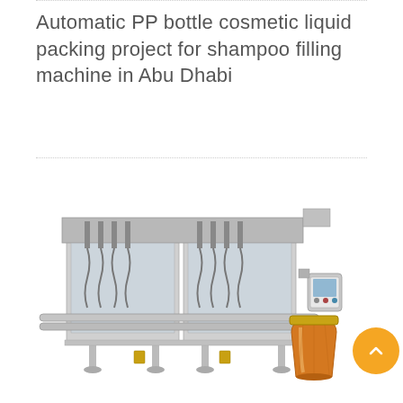Automatic PP bottle cosmetic liquid packing project for shampoo filling machine in Abu Dhabi
[Figure (photo): Industrial automatic liquid filling machine with multiple filling nozzles mounted on a stainless steel frame with conveyor belt, accompanied by an amber glass jar with gold lid placed beside it. An orange circular back-to-top button appears in the bottom-right corner.]